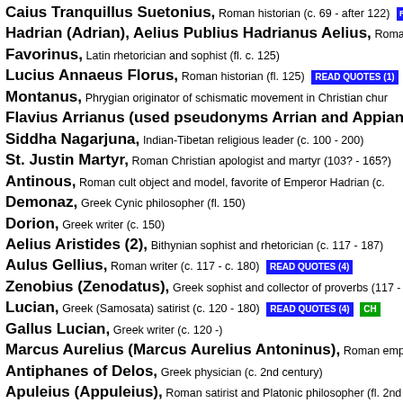Caius Tranquillus Suetonius, Roman historian (c. 69 - after 122)
Hadrian (Adrian), Aelius Publius Hadrianus Aelius, Roman emperor
Favorinus, Latin rhetorician and sophist (fl. c. 125)
Lucius Annaeus Florus, Roman historian (fl. 125) READ QUOTES (1)
Montanus, Phrygian originator of schismatic movement in Christian church
Flavius Arrianus (used pseudonyms Arrian and Appian a/k/a P
Siddha Nagarjuna, Indian-Tibetan religious leader (c. 100 - 200)
St. Justin Martyr, Roman Christian apologist and martyr (103? - 165?)
Antinous, Roman cult object and model, favorite of Emperor Hadrian (c.
Demonaz, Greek Cynic philosopher (fl. 150)
Dorion, Greek writer (c. 150)
Aelius Aristides (2), Bithynian sophist and rhetorician (c. 117 - 187)
Aulus Gellius, Roman writer (c. 117 - c. 180) READ QUOTES (4)
Zenobius (Zenodatus), Greek sophist and collector of proverbs (117 -
Lucian, Greek (Samosata) satirist (c. 120 - 180) READ QUOTES (4)
Gallus Lucian, Greek writer (c. 120 -)
Marcus Aurelius (Marcus Aurelius Antoninus), Roman emperor, p
Antiphanes of Delos, Greek physician (c. 2nd century)
Apuleius (Appuleius), Roman satirist and Platonic philosopher (fl. 2nd
Athenagoras, Greek (Athenian) philosopher and convert to Christianity
Ptolemy, Alexandrian astronomer, mathematician and geographer (2nd c
Quintus Curtius Rufus (Curtis Rufus Quintus), Roman historian (c
Cassius Maximus Tyrius (Maximus of Tyre), Greek rhetorician and
Tyrius Maximus, Greek philosopher and rhetorician (fl. 2nd century)
Claudius Galen (Galenus), Greek physician and medical writer (130 -